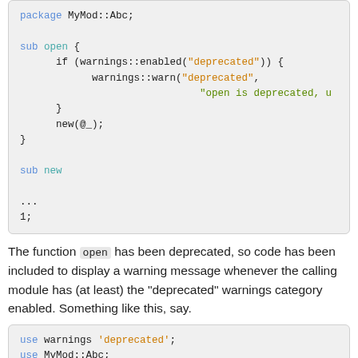[Figure (screenshot): Code block showing Perl module with package MyMod::Abc, sub open with deprecation warning, sub new, ellipsis, and 1;]
The function open has been deprecated, so code has been included to display a warning message whenever the calling module has (at least) the "deprecated" warnings category enabled. Something like this, say.
[Figure (screenshot): Code block showing: use warnings 'deprecated'; use MyMod::Abc; ...]